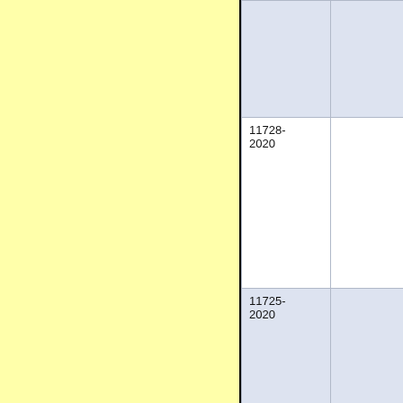| Code | Content |
| --- | --- |
|  |  |
| 11728-2020 |  |
| 11725-2020 |  |